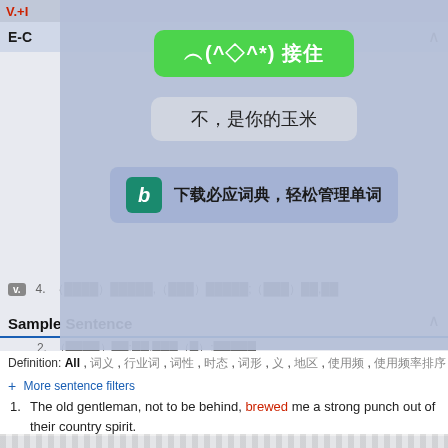V.+I  E-C
[Figure (screenshot): Overlay panel with green button '︵(^◇^*) 接住', gray button '不，是你的玉米', and Bing dictionary promo '下载必应词典，轻松管理单词']
4. （████）█████,（███）█████;（███）██,██
n. 1. ██;（██）████
2. （████）██;██,███（█）;█████
3. （███）██
Sample Sentence
Definition: All , 词义 , 行业词 , 词性 , 时态 , 词形 , 义 , 地区 , 使用频 , 使用频率排序
+ More sentence filters
1. The old gentleman, not to be behind, brewed me a strong punch out of their country spirit.